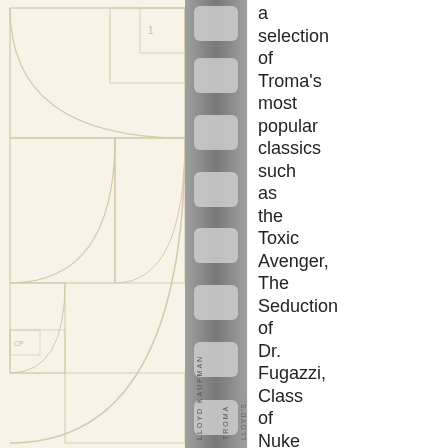[Figure (illustration): Background golden-ratio / Fibonacci spiral architectural diagram with geometric rectangles and arcs in pale cream/beige tones, occupying the left portion of the page. A vertical film strip runs through the center with rounded rectangular perforations and vertical text reading 'LLOYD KAUFMAN' and 'TROMA'. The right half is white.]
a selection of Troma's most popular classics such as the Toxic Avenger, The Seduction of Dr. Fugazzi, Class of Nuke 'Em High, Tromeo and Juliet,